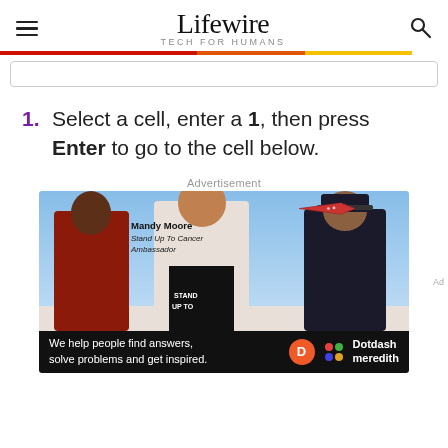Lifewire — TECH FOR HUMANS
1. Select a cell, enter a 1, then press Enter to go to the cell below.
Advertisement
[Figure (photo): Advertisement photo showing three people (Mandy Moore labeled as Stand Up To Cancer Ambassador, a woman on the left, and a pilot on the right) against a blue sky background with an airplane. Text overlay: Mandy Moore, Stand Up To Cancer Ambassador. Bottom bar: We help people find answers, solve problems and get inspired. Dotdash meredith logo.]